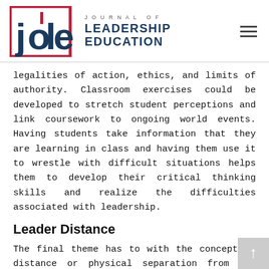Journal of Leadership Education
legalities of action, ethics, and limits of authority. Classroom exercises could be developed to stretch student perceptions and link coursework to ongoing world events. Having students take information that they are learning in class and having them use it to wrestle with difficult situations helps them to develop their critical thinking skills and realize the difficulties associated with leadership.
Leader Distance
The final theme has to with the concept of distance or physical separation from the organization. Leaders face several challenges when they are geographically separated from their organization. This is especially